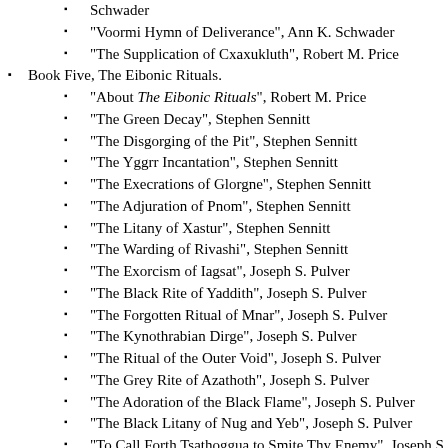Schwader
"Voormi Hymn of Deliverance", Ann K. Schwader
"The Supplication of Cxaxukluth", Robert M. Price
Book Five, The Eibonic Rituals.
"About The Eibonic Rituals", Robert M. Price
"The Green Decay", Stephen Sennitt
"The Disgorging of the Pit", Stephen Sennitt
"The Yggrr Incantation", Stephen Sennitt
"The Execrations of Glorgne", Stephen Sennitt
"The Adjuration of Pnom", Stephen Sennitt
"The Litany of Xastur", Stephen Sennitt
"The Warding of Rivashi", Stephen Sennitt
"The Exorcism of Iagsat", Joseph S. Pulver
"The Black Rite of Yaddith", Joseph S. Pulver
"The Forgotten Ritual of Mnar", Joseph S. Pulver
"The Kynothrabian Dirge", Joseph S. Pulver
"The Ritual of the Outer Void", Joseph S. Pulver
"The Grey Rite of Azathoth", Joseph S. Pulver
"The Adoration of the Black Flame", Joseph S. Pulver
"The Black Litany of Nug and Yeb", Joseph S. Pulver
"To Call Forth Tsathoggua to Smite Thy Enemy", Joseph S. Pulver
"To Summons and Instruct Zhogtk, the Emanation of Yoth", Joseph S. Pulver
"The Night of the Night", Michael Cisco